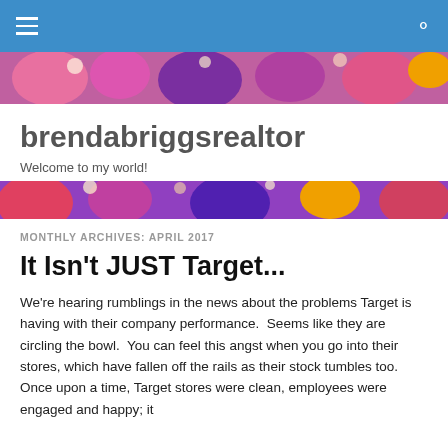brendabriggsrealtor — navigation bar
[Figure (photo): Floral banner with pink, purple, and red flowers — top hero image]
brendabriggsrealtor
Welcome to my world!
[Figure (photo): Floral banner with red, purple, and orange flowers — bottom hero image]
MONTHLY ARCHIVES: APRIL 2017
It Isn't JUST Target...
We're hearing rumblings in the news about the problems Target is having with their company performance.  Seems like they are circling the bowl.  You can feel this angst when you go into their stores, which have fallen off the rails as their stock tumbles too.  Once upon a time, Target stores were clean, employees were engaged and happy; it